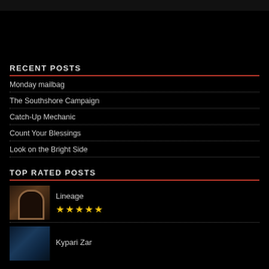RECENT POSTS
Monday mailbag
The Southshore Campaign
Catch-Up Mechanic
Count Your Blessings
Look on the Bright Side
TOP RATED POSTS
[Figure (photo): Thumbnail image for Lineage post showing a stone arch]
Lineage ★★★★★
[Figure (photo): Thumbnail image for Kypari Zar post]
Kypari Zar